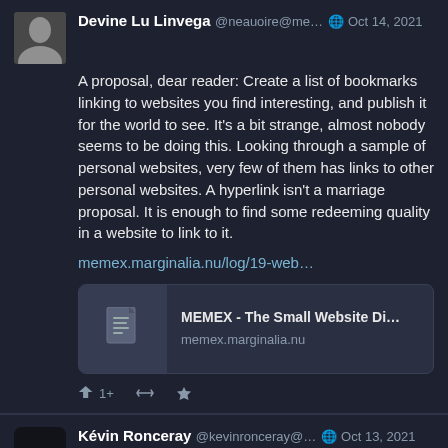Devine Lu Linvega @neauoire@me… 🌐 Oct 14, 2021
A proposal, dear reader: Create a list of bookmarks linking to websites you find interesting, and publish it for the world to see. It's a bit strange, almost nobody seems to be doing this. Looking through a sample of personal websites, very few of them has links to other personal websites. A hyperlink isn't a marriage proposal. It is enough to find some redeeming quality in a website to link to it.
memex.marginalia.nu/log/19-web…
[Figure (screenshot): Link preview card showing MEMEX - The Small Website Di… at memex.marginalia.nu with a document icon]
↩ 1+   ♻   ★
Kévin Ronceray @kevinronceray@… 🌐 Oct 13, 2021
C'est où les petites commu FR dans le genre ?